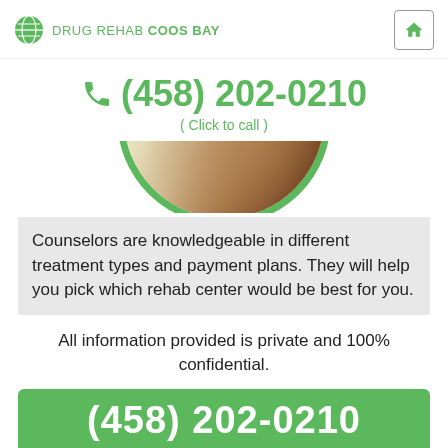DRUG REHAB COOS BAY
(458) 202-0210
( Click to call )
[Figure (photo): Circular cropped photo with green border showing art supplies or craft materials]
Counselors are knowledgeable in different treatment types and payment plans. They will help you pick which rehab center would be best for you.
All information provided is private and 100% confidential.
(458) 202-0210